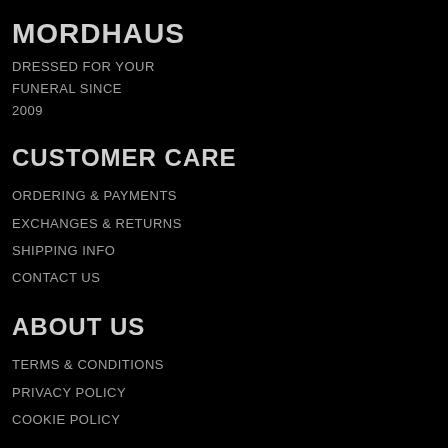MORDHAUS
DRESSED FOR YOUR
FUNERAL SINCE
2009
CUSTOMER CARE
ORDERING & PAYMENTS
EXCHANGES & RETURNS
SHIPPING INFO
CONTACT US
ABOUT US
TERMS & CONDITIONS
PRIVACY POLICY
COOKIE POLICY